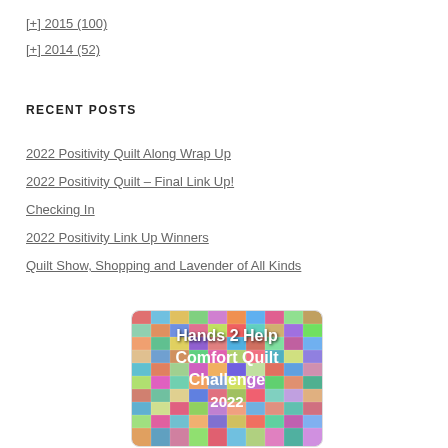[+] 2015 (100)
[+] 2014 (52)
RECENT POSTS
2022 Positivity Quilt Along Wrap Up
2022 Positivity Quilt – Final Link Up!
Checking In
2022 Positivity Link Up Winners
Quilt Show, Shopping and Lavender of All Kinds
[Figure (photo): Hands 2 Help Comfort Quilt Challenge 2022 promotional image with colorful patchwork quilt squares in the background and white bold text overlaid]